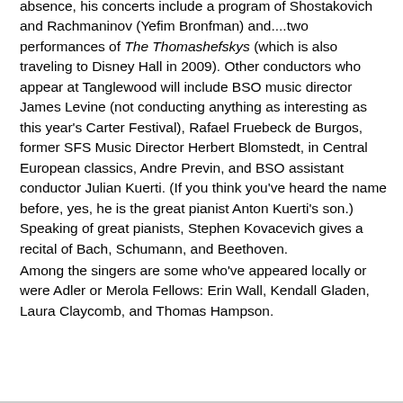absence, his concerts include a program of Shostakovich and Rachmaninov (Yefim Bronfman) and....two performances of The Thomashefskys (which is also traveling to Disney Hall in 2009). Other conductors who appear at Tanglewood will include BSO music director James Levine (not conducting anything as interesting as this year's Carter Festival), Rafael Fruebeck de Burgos, former SFS Music Director Herbert Blomstedt, in Central European classics, Andre Previn, and BSO assistant conductor Julian Kuerti. (If you think you've heard the name before, yes, he is the great pianist Anton Kuerti's son.) Speaking of great pianists, Stephen Kovacevich gives a recital of Bach, Schumann, and Beethoven.
Among the singers are some who've appeared locally or were Adler or Merola Fellows: Erin Wall, Kendall Gladen, Laura Claycomb, and Thomas Hampson.